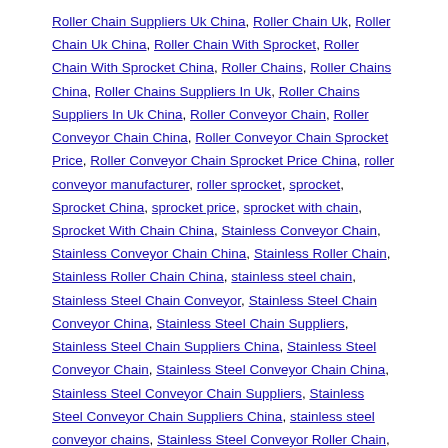Roller Chain Suppliers Uk China, Roller Chain Uk, Roller Chain Uk China, Roller Chain With Sprocket, Roller Chain With Sprocket China, Roller Chains, Roller Chains China, Roller Chains Suppliers In Uk, Roller Chains Suppliers In Uk China, Roller Conveyor Chain, Roller Conveyor Chain China, Roller Conveyor Chain Sprocket Price, Roller Conveyor Chain Sprocket Price China, roller conveyor manufacturer, roller sprocket, sprocket, Sprocket China, sprocket price, sprocket with chain, Sprocket With Chain China, Stainless Conveyor Chain, Stainless Conveyor Chain China, Stainless Roller Chain, Stainless Roller Chain China, stainless steel chain, Stainless Steel Chain Conveyor, Stainless Steel Chain Conveyor China, Stainless Steel Chain Suppliers, Stainless Steel Chain Suppliers China, Stainless Steel Conveyor Chain, Stainless Steel Conveyor Chain China, Stainless Steel Conveyor Chain Suppliers, Stainless Steel Conveyor Chain Suppliers China, stainless steel conveyor chains, Stainless Steel Conveyor Roller Chain, Stainless Steel Conveyor Roller Chain China, stainless steel roller chain, Stainless Steel Roller Chain China, Stainless Steel Roller Chain Sprocket, Stainless Steel Roller Chain Sprocket China, Stainless...